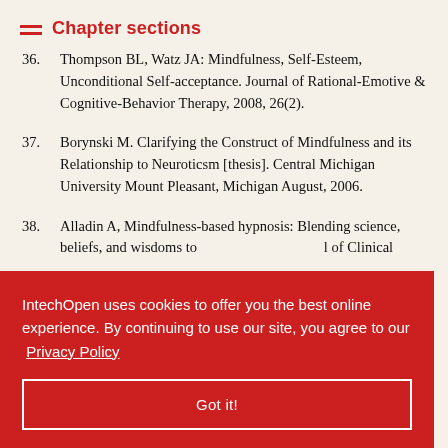Chapter sections
36.  Thompson BL, Watz JA: Mindfulness, Self-Esteem, Unconditional Self-acceptance. Journal of Rational-Emotive & Cognitive-Behavior Therapy, 2008, 26(2).
37.  Borynski M. Clarifying the Construct of Mindfulness and its Relationship to Neuroticsm [thesis]. Central Michigan University Mount Pleasant, Michigan August, 2006.
38.  Alladin A, Mindfulness-based hypnosis: Blending science, beliefs, and wisdoms to ... Journal of Clinical ...
IntechOpen uses cookies to offer you the best online experience. By continuing to use our site, you agree to our Privacy Policy
Got it!